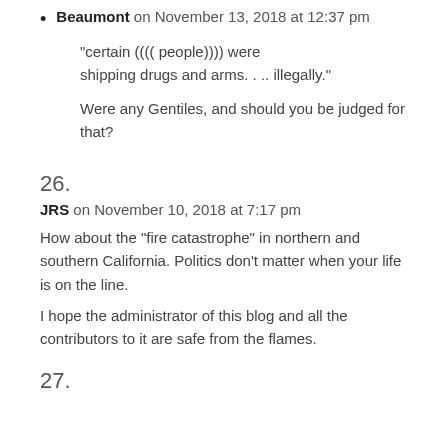Beaumont on November 13, 2018 at 12:37 pm
“certain (((( people)))) were shipping drugs and arms. . .. illegally.”
Were any Gentiles, and should you be judged for that?
26.
JRS on November 10, 2018 at 7:17 pm
How about the “fire catastrophe” in northern and southern California. Politics don’t matter when your life is on the line.
I hope the administrator of this blog and all the contributors to it are safe from the flames.
27.